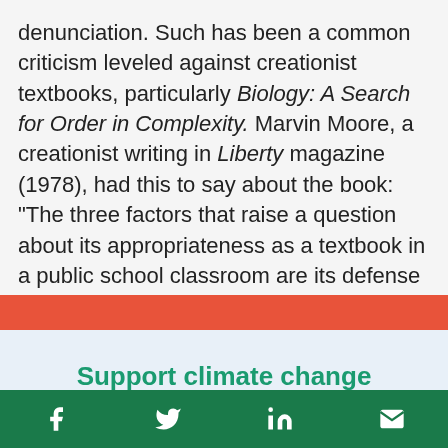denunciation. Such has been a common criticism leveled against creationist textbooks, particularly Biology: A Search for Order in Complexity. Marvin Moore, a creationist writing in Liberty magazine (1978), had this to say about the book: "The three factors that raise a question about its appropriateness as a textbook in a public school classroom are its defense of Biblical creationism, sometimes with X
Support climate change
Facebook Twitter LinkedIn Email